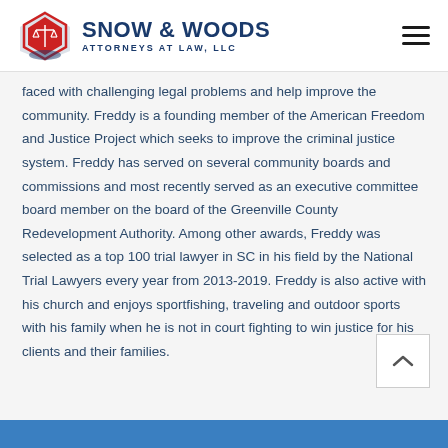SNOW & WOODS ATTORNEYS AT LAW, LLC
faced with challenging legal problems and help improve the community. Freddy is a founding member of the American Freedom and Justice Project which seeks to improve the criminal justice system. Freddy has served on several community boards and commissions and most recently served as an executive committee board member on the board of the Greenville County Redevelopment Authority. Among other awards, Freddy was selected as a top 100 trial lawyer in SC in his field by the National Trial Lawyers every year from 2013-2019. Freddy is also active with his church and enjoys sportfishing, traveling and outdoor sports with his family when he is not in court fighting to win justice for his clients and their families.